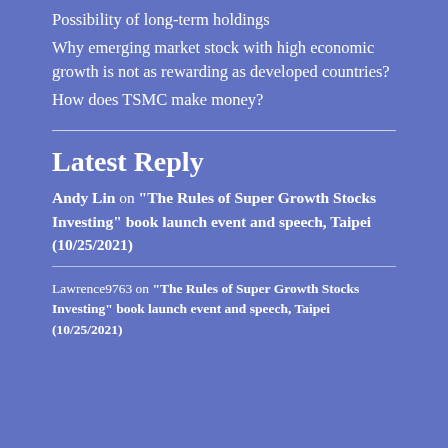Possibility of long-term holdings
Why emerging market stock with high economic growth is not as rewarding as developed countries?
How does TSMC make money?
Latest Reply
Andy Lin on “The Rules of Super Growth Stocks Investing” book launch event and speech, Taipei (10/25/2021)
Lawrence9763 on “The Rules of Super Growth Stocks Investing” book launch event and speech, Taipei (10/25/2021)